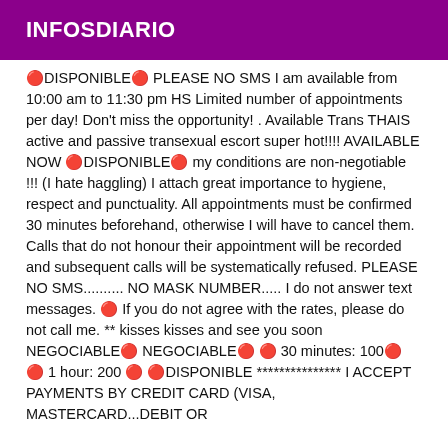INFOSDIARIO
🔴DISPONIBLE🔴 PLEASE NO SMS I am available from 10:00 am to 11:30 pm HS Limited number of appointments per day! Don't miss the opportunity! . Available Trans THAIS active and passive transexual escort super hot!!!! AVAILABLE NOW 🔴DISPONIBLE🔴 my conditions are non-negotiable !!! (I hate haggling) I attach great importance to hygiene, respect and punctuality. All appointments must be confirmed 30 minutes beforehand, otherwise I will have to cancel them. Calls that do not honour their appointment will be recorded and subsequent calls will be systematically refused. PLEASE NO SMS.......... NO MASK NUMBER..... I do not answer text messages. 🔴 If you do not agree with the rates, please do not call me. ** kisses kisses and see you soon NEGOCIABLE🔴 NEGOCIABLE🔴 🔴 30 minutes: 100🔴 🔴 1 hour: 200 🔴 🔴DISPONIBLE *************** I ACCEPT PAYMENTS BY CREDIT CARD (VISA, MASTERCARD...DEBIT OR